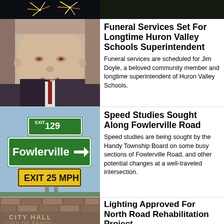[Figure (photo): Fireworks display photo banner at top of page]
[Figure (photo): Portrait photo of an elderly man in a suit, Jim Doyle]
Funeral Services Set For Longtime Huron Valley Schools Superintendent
Funeral services are scheduled for Jim Doyle, a beloved community member and longtime superintendent of Huron Valley Schools.
[Figure (photo): Road signs showing EXIT 129, Fowlerville with arrow, EXIT 25 MPH on yellow background]
Speed Studies Sought Along Fowlerville Road
Speed studies are being sought by the Handy Township Board on some busy sections of Fowlerville Road, and other potential changes at a well-traveled intersection.
[Figure (photo): Brick wall of City Hall, City of Fenton sign]
Lighting Approved For North Road Rehabilitation Project